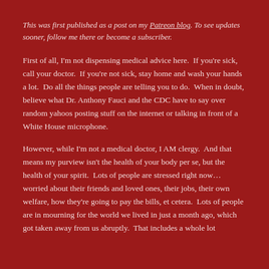This was first published as a post on my Patreon blog. To see updates sooner, follow me there or become a subscriber.
First of all, I'm not dispensing medical advice here.  If you're sick, call your doctor.  If you're not sick, stay home and wash your hands a lot.  Do all the things people are telling you to do.  When in doubt, believe what Dr. Anthony Fauci and the CDC have to say over random yahoos posting stuff on the internet or talking in front of a White House microphone.
However, while I'm not a medical doctor, I AM clergy.  And that means my purview isn't the health of your body per se, but the health of your spirit.  Lots of people are stressed right now… worried about their friends and loved ones, their jobs, their own welfare, how they're going to pay the bills, et cetera.  Lots of people are in mourning for the world we lived in just a month ago, which got taken away from us abruptly.  That includes a whole lot